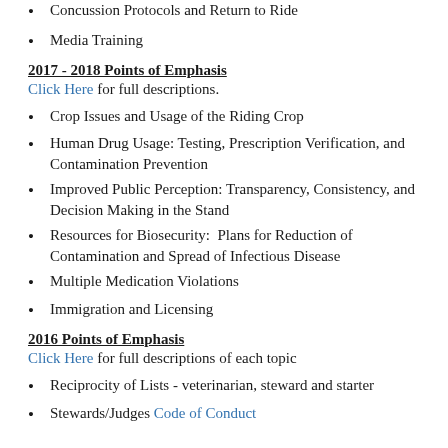Concussion Protocols and Return to Ride
Media Training
2017 - 2018 Points of Emphasis
Click Here for full descriptions.
Crop Issues and Usage of the Riding Crop
Human Drug Usage: Testing, Prescription Verification, and Contamination Prevention
Improved Public Perception: Transparency, Consistency, and Decision Making in the Stand
Resources for Biosecurity:  Plans for Reduction of Contamination and Spread of Infectious Disease
Multiple Medication Violations
Immigration and Licensing
2016 Points of Emphasis
Click Here for full descriptions of each topic
Reciprocity of Lists - veterinarian, steward and starter
Stewards/Judges Code of Conduct